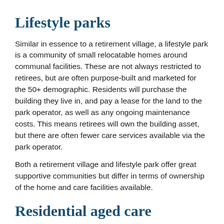Lifestyle parks
Similar in essence to a retirement village, a lifestyle park is a community of small relocatable homes around communal facilities. These are not always restricted to retirees, but are often purpose-built and marketed for the 50+ demographic. Residents will purchase the building they live in, and pay a lease for the land to the park operator, as well as any ongoing maintenance costs. This means retirees will own the building asset, but there are often fewer care services available via the park operator.
Both a retirement village and lifestyle park offer great supportive communities but differ in terms of ownership of the home and care facilities available.
Residential aged care